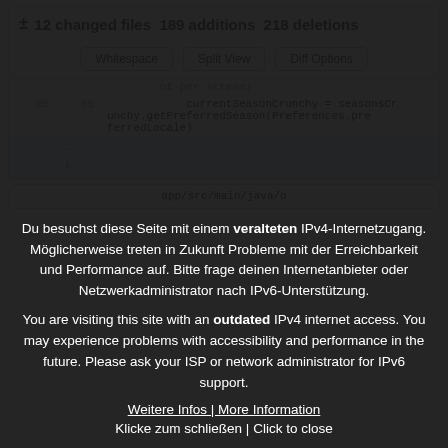± 12 changed files  189 additions  218 deletions
Whitespace  Split View  Diff Options
[Figure (screenshot): Code diff view showing line numbers 65 and 65 with code: currentSeasonCrunchy = seasonsCrunchy.getPreferredSeason(Preferences.preferredLocale)]
app/src/main/java/o
Du besuchst diese Seite mit einem veralteten IPv4-Internetzugang. Möglicherweise treten in Zukunft Probleme mit der Erreichbarkeit und Performance auf. Bitte frage deinen Internetanbieter oder Netzwerkadministrator nach IPv6-Unterstützung.
You are visiting this site with an outdated IPv4 internet access. You may experience problems with accessibility and performance in the future. Please ask your ISP or network administrator for IPv6 support.
Weitere Infos | More Information
Klicke zum schließen | Click to close